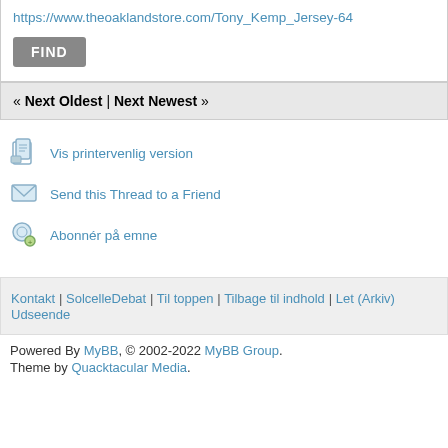https://www.theoaklandstore.com/Tony_Kemp_Jersey-64
FIND
« Next Oldest | Next Newest »
Vis printervenlig version
Send this Thread to a Friend
Abonnér på emne
Kontakt | SolcelleDebat | Til toppen | Tilbage til indhold | Let (Arkiv) Udseende
Powered By MyBB, © 2002-2022 MyBB Group. Theme by Quacktacular Media.